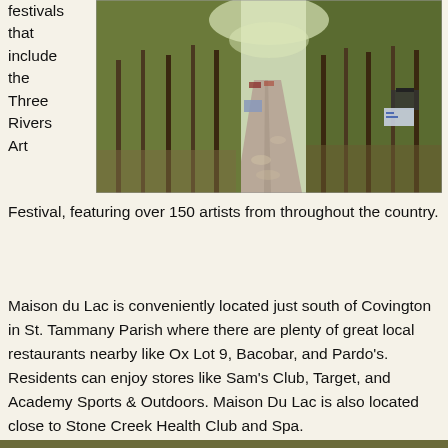festivals that include the Three Rivers Art
[Figure (photo): A tree-lined residential road with dappled sunlight, a mailbox with a small sign visible on the right side, and cars parked in the distance.]
Festival, featuring over 150 artists from throughout the country.
Maison du Lac is conveniently located just south of Covington in St. Tammany Parish where there are plenty of great local restaurants nearby like Ox Lot 9, Bacobar, and Pardo's. Residents can enjoy stores like Sam's Club, Target, and Academy Sports & Outdoors. Maison Du Lac is also located close to Stone Creek Health Club and Spa.